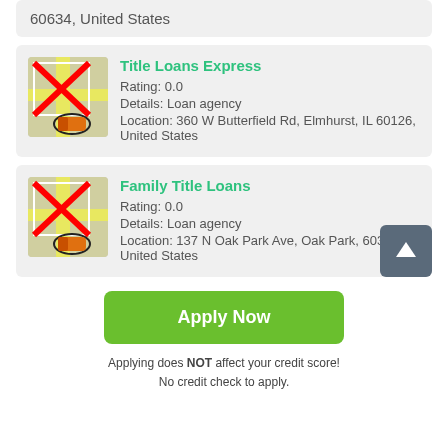60634, United States
Title Loans Express
Rating: 0.0
Details: Loan agency
Location: 360 W Butterfield Rd, Elmhurst, IL 60126, United States
Family Title Loans
Rating: 0.0
Details: Loan agency
Location: 137 N Oak Park Ave, Oak Park, 60301, United States
Apply Now
Applying does NOT affect your credit score!
No credit check to apply.